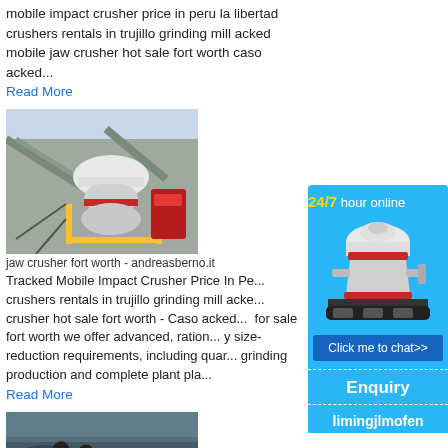mobile impact crusher price in peru la libertad crushers rentals in trujillo grinding mill acked mobile jaw crusher hot sale fort worth caso acked...
Read More
[Figure (photo): Industrial cone crusher machine in a mining facility]
jaw crusher fort worth - andreasberno.it
Tracked Mobile Impact Crusher Price In Pe... crushers rentals in trujillo grinding mill acke... crusher hot sale fort worth - Caso acked... for sale fort worth we offer advanced, ration... y size-reduction requirements, including quar... grinding production and complete plant pla...
Read More
[Figure (photo): Mining or quarrying operation, bottom partial image]
[Figure (infographic): Sidebar widget: 24/7 hour online with cone crusher image, Click me to chat>> button, Enquiry section, limingjlmofen text]